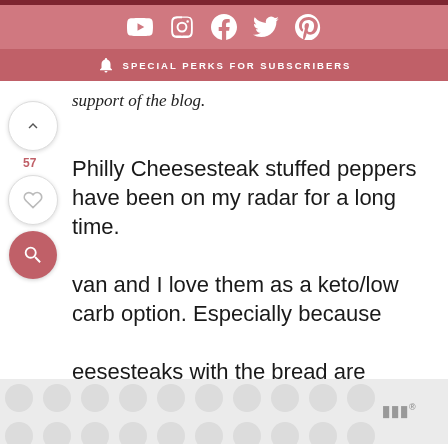SPECIAL PERKS FOR SUBSCRIBERS
support of the blog.
Philly Cheesesteak stuffed peppers have been on my radar for a long time. 57 Ryan and I love them as a keto/low carb option. Especially because cheesesteaks with the bread are incredible, but they spike my blood
[Figure (other): Ad banner with circular pattern and Mediavine logo]